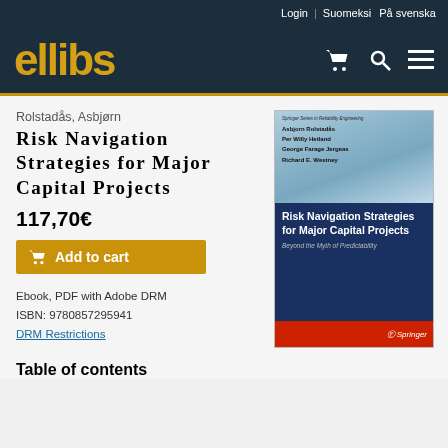Login | Suomeksi På svenska
[Figure (logo): ellibs logo in gold/yellow on dark navy background with shopping cart, search, and menu icons]
Rolstadås, Asbjørn
Risk Navigation Strategies for Major Capital Projects
117,70€
Add to cart
Ebook, PDF with Adobe DRM
ISBN: 9780857295941
DRM Restrictions
[Figure (illustration): Book cover for 'Risk Navigation Strategies for Major Capital Projects' by Asbjorn Rolstadas, Per Willy Hetland, George Farage Jergeas, Richard E. Westney. Springer Series in Reliability Engineering. Dark blue cover with white title text and red bottom bar with Springer logo.]
Table of contents